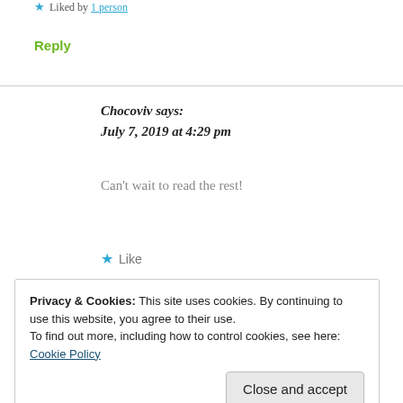★ Liked by 1 person
Reply
Chocoviv says:
July 7, 2019 at 4:29 pm
Can't wait to read the rest!
★ Like
Privacy & Cookies: This site uses cookies. By continuing to use this website, you agree to their use.
To find out more, including how to control cookies, see here: Cookie Policy
Close and accept